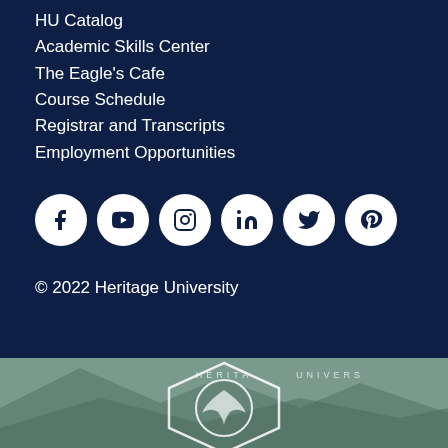HU Catalog
Academic Skills Center
The Eagle's Cafe
Course Schedule
Registrar and Transcripts
Employment Opportunities
[Figure (infographic): Row of 6 white circular social media icons on dark navy background: Facebook, YouTube, Instagram, LinkedIn, Twitter, Pinterest]
© 2022 Heritage University
[Figure (logo): Heritage University seal/logo partially visible at bottom of page with mountain background]